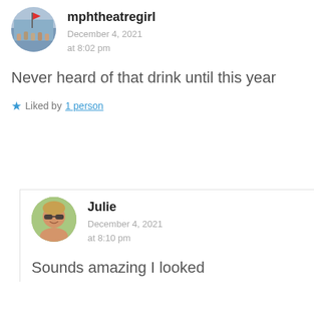[Figure (photo): Circular avatar photo of mphtheatregirl showing a crowd scene with flags]
mphtheatregirl
December 4, 2021
at 8:02 pm
Never heard of that drink until this year
★ Liked by 1 person
[Figure (photo): Circular avatar photo of Julie showing a woman wearing sunglasses outdoors]
Julie
December 4, 2021
at 8:10 pm
Sounds amazing I looked